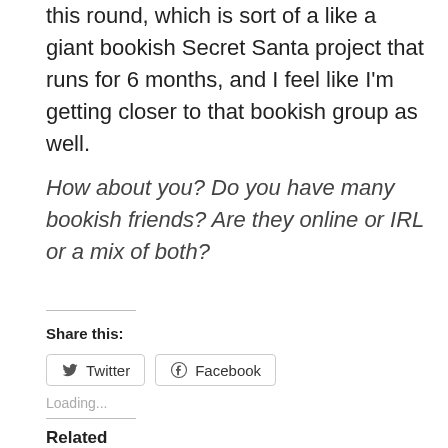this round, which is sort of a like a giant bookish Secret Santa project that runs for 6 months, and I feel like I'm getting closer to that bookish group as well.
How about you? Do you have many bookish friends? Are they online or IRL or a mix of both?
Share this:
Twitter  Facebook
Loading...
Related